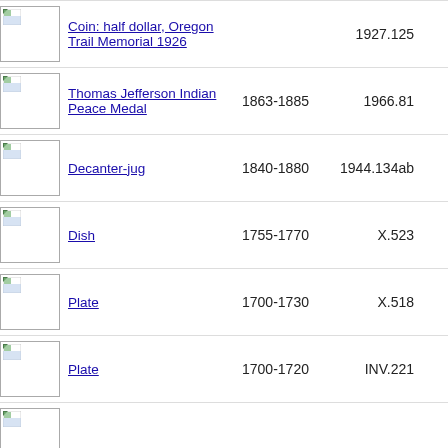| Image | Name | Date | ID |
| --- | --- | --- | --- |
| [img] | Coin: half dollar, Oregon Trail Memorial 1926 |  | 1927.125 |
| [img] | Thomas Jefferson Indian Peace Medal | 1863-1885 | 1966.81 |
| [img] | Decanter-jug | 1840-1880 | 1944.134ab |
| [img] | Dish | 1755-1770 | X.523 |
| [img] | Plate | 1700-1730 | X.518 |
| [img] | Plate | 1700-1720 | INV.221 |
| [img] |  |  |  |